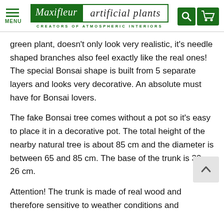Maxifleur artificial plants — CREATORS OF ATMOSPHERIC INTERIORS
green plant, doesn't only look very realistic, it's needle shaped branches also feel exactly like the real ones! The special Bonsai shape is built from 5 separate layers and looks very decorative. An absolute must have for Bonsai lovers.
The fake Bonsai tree comes without a pot so it's easy to place it in a decorative pot. The total height of the nearby natural tree is about 85 cm and the diameter is between 65 and 85 cm. The base of the trunk is 30 x 26 cm.
Attention! The trunk is made of real wood and therefore sensitive to weather conditions and